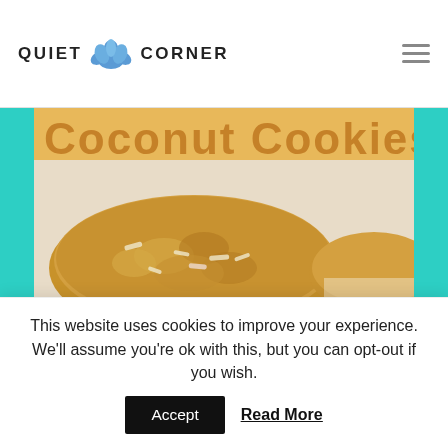QUIET CORNER
[Figure (photo): Close-up photo of keto coconut cookies on a white surface with golden/tan banner at top partially showing text 'Coconut Cookies']
Cookies and Snacks, Healthy Recipes, Keto Recipes, Recipes
Keto Coconut Cookies
Keto Coconut Cookies Recipe These simple gluten free Keto Coconut Cookies are a great portable snack. I just made these and they [...]
2 years ago   ♥ 130   💬 1
This website uses cookies to improve your experience. We'll assume you're ok with this, but you can opt-out if you wish.
Accept   Read More